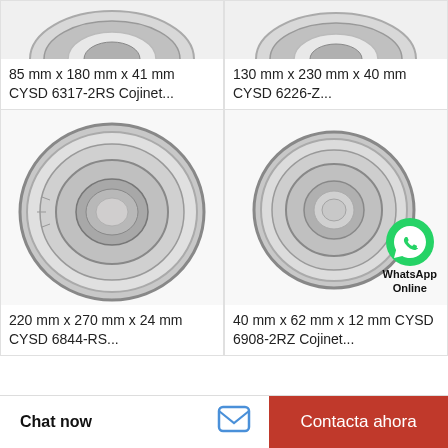[Figure (photo): Ball bearing (top, partially cut off) - CYSD 6317-2RS, top-left cell]
85 mm x 180 mm x 41 mm CYSD 6317-2RS Cojinet...
[Figure (photo): Ball bearing (top, partially cut off) - CYSD 6226-Z, top-right cell]
130 mm x 230 mm x 40 mm CYSD 6226-Z...
[Figure (photo): Ball bearing - CYSD 6844-RS, with WhatsApp Online overlay badge, bottom-left cell]
220 mm x 270 mm x 24 mm CYSD 6844-RS...
[Figure (photo): Ball bearing - CYSD 6908-2RZ with WhatsApp Online badge overlay, bottom-right cell]
40 mm x 62 mm x 12 mm CYSD 6908-2RZ Cojinet...
Chat now
Contacta ahora